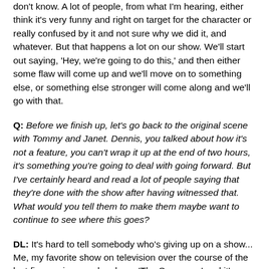don't know. A lot of people, from what I'm hearing, either think it's very funny and right on target for the character or really confused by it and not sure why we did it, and whatever. But that happens a lot on our show. We'll start out saying, 'Hey, we're going to do this,' and then either some flaw will come up and we'll move on to something else, or something else stronger will come along and we'll go with that.
Q: Before we finish up, let's go back to the original scene with Tommy and Janet. Dennis, you talked about how it's not a feature, you can't wrap it up at the end of two hours, it's something you're going to deal with going forward. But I've certainly heard and read a lot of people saying that they're done with the show after having witnessed that. What would you tell them to make them maybe want to continue to see where this goes?
DL: It's hard to tell somebody who's giving up on a show... Me, my favorite show on television over the course of the last five or six years has been 'The Sopranos,' and it's always interesting to me that people can see Tony Sopranos